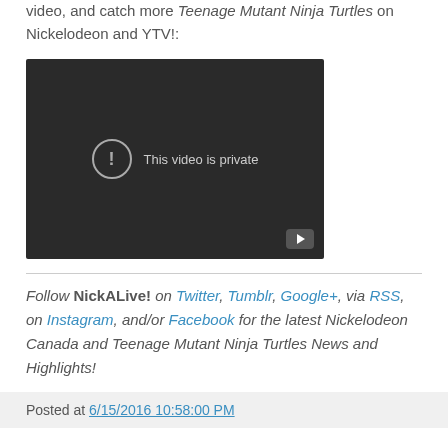video, and catch more Teenage Mutant Ninja Turtles on Nickelodeon and YTV!:
[Figure (screenshot): Embedded video player showing 'This video is private' message on dark background with YouTube icon]
Follow NickALive! on Twitter, Tumblr, Google+, via RSS, on Instagram, and/or Facebook for the latest Nickelodeon Canada and Teenage Mutant Ninja Turtles News and Highlights!
Posted at 6/15/2016 10:58:00 PM